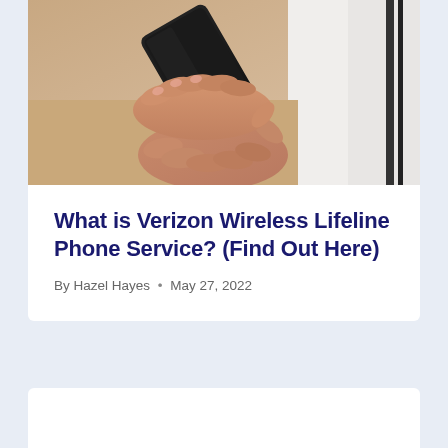[Figure (photo): Hands holding a smartphone, viewed from above. Person wearing white clothing with black trim.]
What is Verizon Wireless Lifeline Phone Service? (Find Out Here)
By Hazel Hayes • May 27, 2022